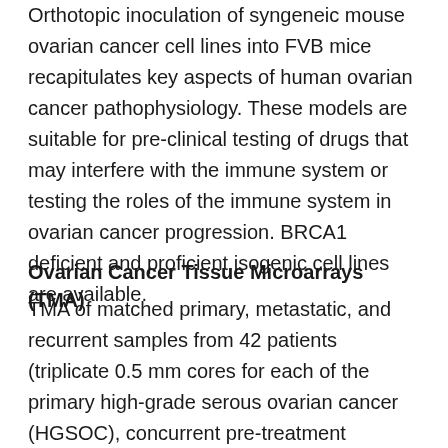Orthotopic inoculation of syngeneic mouse ovarian cancer cell lines into FVB mice recapitulates key aspects of human ovarian cancer pathophysiology. These models are suitable for pre-clinical testing of drugs that may interfere with the immune system or testing the roles of the immune system in ovarian cancer progression. BRCA1 deficient and proficient isogenic cell lines are available.
Ovarian Cancer Tissue Microarrays (TMA)
TMA of matched primary, metastatic, and recurrent samples from 42 patients (triplicate 0.5 mm cores for each of the primary high-grade serous ovarian cancer (HGSOC), concurrent pre-treatment metastasis, and recurrent post-treatment metastasis). The TMA is accompanied by detailed clinical data and an image database of immunohistochemical stains for markers of different